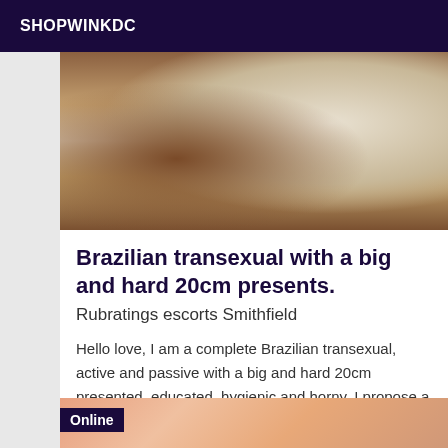SHOPWINKDC
[Figure (photo): Close-up photo showing fabric or clothing details in warm brown and beige tones]
Brazilian transexual with a big and hard 20cm presents.
Rubratings escorts Smithfield
Hello love, I am a complete Brazilian transexual, active and passive with a big and hard 20cm presented, educated, hygienic and horny, I propose a peaceful relationship with prelemin, kisses, caresses, 69, fantasies and parties, I have popper and I can offer you give you something to drink, give me a massage, if you want, anything you want to have fun with me.
[Figure (photo): Partial photo showing skin tones in warm pink/peach colors with Online badge overlay]